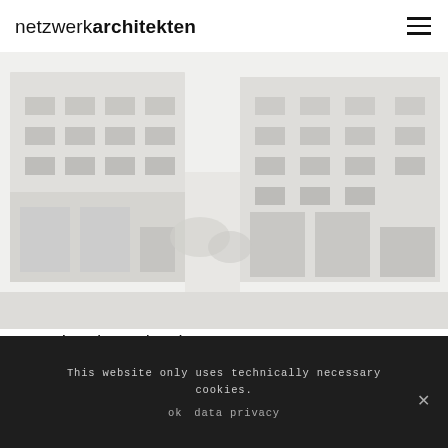netzwerkarchitekten
[Figure (photo): Architectural building photograph, faded/washed out, showing a modern building facade in Oberhausen. The image is desaturated and very light, showing geometric structures, windows, and building elements.]
Centipede, Oberhausen
This website only uses technically necessary cookies.
ok   data privacy